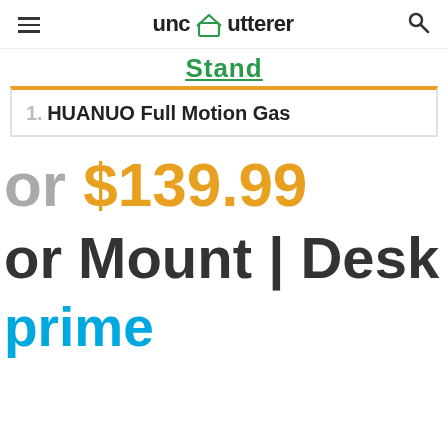unclutterer
Stand
1. HUANUO Full Motion Gas
or $139.99
or Mount | Desk S
prime